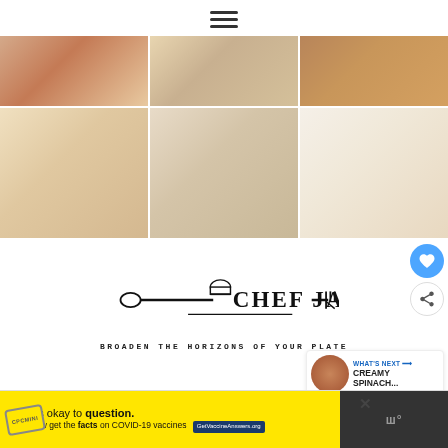[Figure (illustration): Hamburger menu icon (three horizontal lines)]
[Figure (photo): 3x2 grid of food photos showing pasta and seafood dishes]
[Figure (logo): Chef Jar logo with spoon, fork, chef hat, and text 'CHEF JAR - BROADEN THE HORIZONS OF YOUR PLATE']
[Figure (infographic): What's Next panel showing Creamy Spinach recipe thumbnail]
[Figure (infographic): Advertisement banner: It's okay to question. Now get the facts on COVID-19 vaccines. GetVaccineAnswers.org]